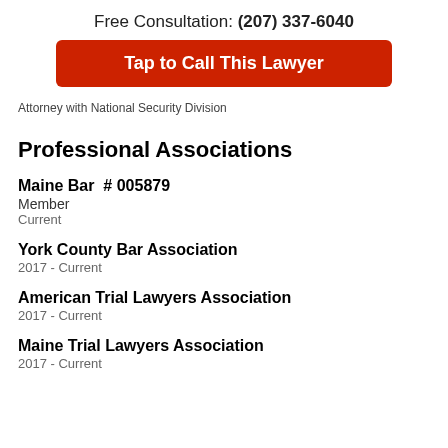Free Consultation: (207) 337-6040
Tap to Call This Lawyer
Attorney with National Security Division
Professional Associations
Maine Bar  # 005879
Member
Current
York County Bar Association
2017 - Current
American Trial Lawyers Association
2017 - Current
Maine Trial Lawyers Association
2017 - Current